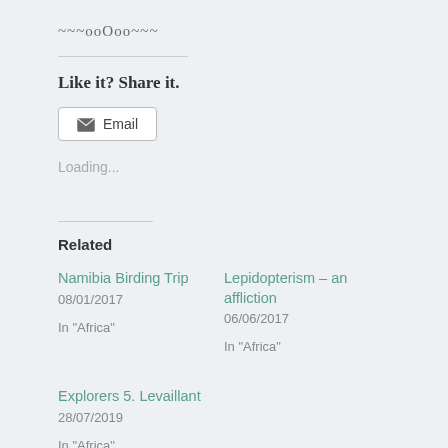~~~ooOoo~~~
Like it? Share it.
Email
Loading...
Related
Namibia Birding Trip
08/01/2017
In "Africa"
Lepidopterism – an affliction
06/06/2017
In "Africa"
Explorers 5. Levaillant
28/07/2019
In "Africa"